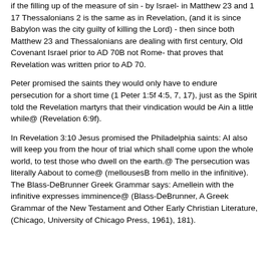if the filling up of the measure of sin - by Israel- in Matthew 23 and 1 17 Thessalonians 2 is the same as in Revelation, (and it is since Babylon was the city guilty of killing the Lord) - then since both Matthew 23 and Thessalonians are dealing with first century, Old Covenant Israel prior to AD 70B not Rome- that proves that Revelation was written prior to AD 70.
Peter promised the saints they would only have to endure persecution for a short time (1 Peter 1:5f 4:5, 7, 17), just as the Spirit told the Revelation martyrs that their vindication would be Ain a little while@ (Revelation 6:9f).
In Revelation 3:10 Jesus promised the Philadelphia saints: AI also will keep you from the hour of trial which shall come upon the whole world, to test those who dwell on the earth.@ The persecution was literally Aabout to come@ (mellousesB from mello in the infinitive). The Blass-DeBrunner Greek Grammar says: Amellein with the infinitive expresses imminence@ (Blass-DeBrunner, A Greek Grammar of the New Testament and Other Early Christian Literature, (Chicago, University of Chicago Press, 1961), 181).